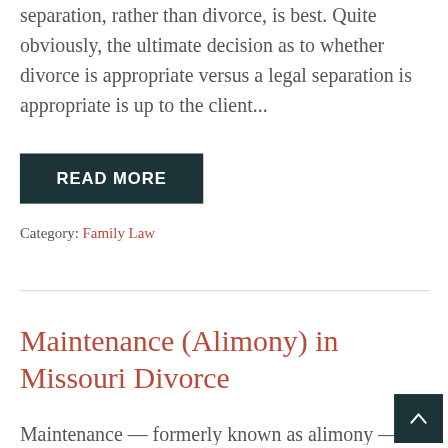separation, rather than divorce, is best. Quite obviously, the ultimate decision as to whether divorce is appropriate versus a legal separation is appropriate is up to the client...
READ MORE
Category: Family Law
Maintenance (Alimony) in Missouri Divorce
Maintenance — formerly known as alimony — is